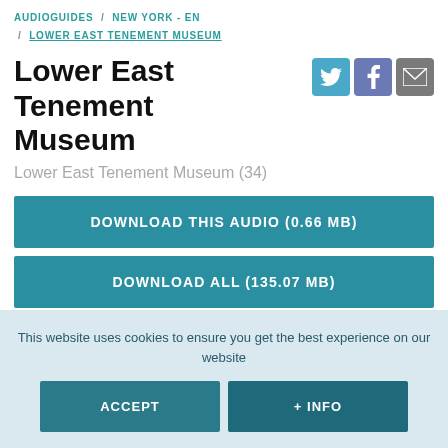AUDIOGUIDES / NEW YORK - EN / LOWER EAST TENEMENT MUSEUM
Lower East Tenement Museum
Lower East Tenement Museum (34)
DOWNLOAD THIS AUDIO (0.66 MB)
DOWNLOAD ALL (135.07 MB)
This website uses cookies to ensure you get the best experience on our website
ACCEPT
+ INFO